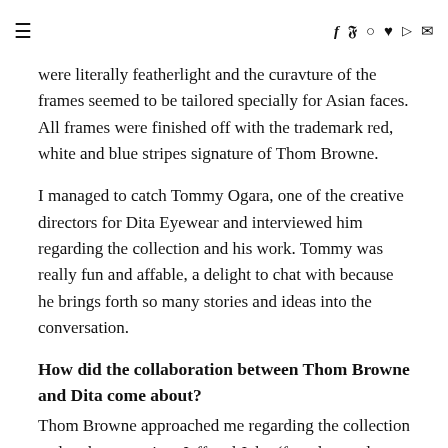≡  f  𝕪  ⊙  ♥  ⊳  ✉
were literally featherlight and the curavture of the frames seemed to be tailored specially for Asian faces. All frames were finished off with the trademark red, white and blue stripes signature of Thom Browne.
I managed to catch Tommy Ogara, one of the creative directors for Dita Eyewear and interviewed him regarding the collection and his work. Tommy was really fun and affable, a delight to chat with because he brings forth so many stories and ideas into the conversation.
How did the collaboration between Thom Browne and Dita come about?
Thom Browne approached me regarding the collection and at the same time Jeff and John (founders and creative directors of